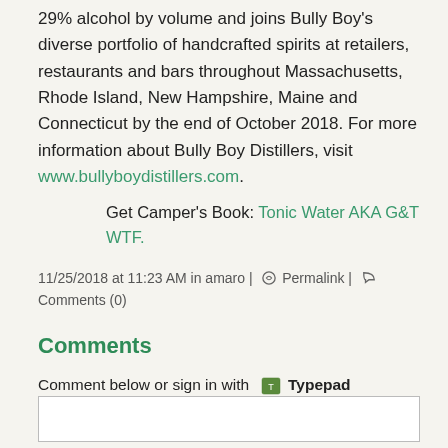29% alcohol by volume and joins Bully Boy's diverse portfolio of handcrafted spirits at retailers, restaurants and bars throughout Massachusetts, Rhode Island, New Hampshire, Maine and Connecticut by the end of October 2018. For more information about Bully Boy Distillers, visit www.bullyboydistillers.com.
Get Camper's Book: Tonic Water AKA G&T WTF.
11/25/2018 at 11:23 AM in amaro | Permalink | Comments (0)
Comments
Comment below or sign in with Typepad Facebook Twitter and more...